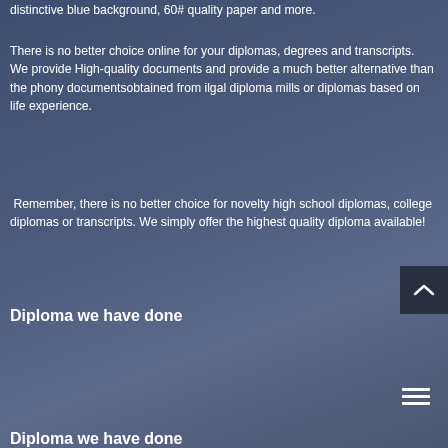distinctive blue background, 60# quality paper and more.
There is no better choice online for your diplomas, degrees and transcripts. We provide High-quality documents and provide a much better alternative than the phony documentsobtained from ilgal diploma mills or diplomas based on life experience.
Remember, there is no better choice for novelty high school diplomas, college diplomas or transcripts. We simply offer the highest quality diploma available!
Diploma we have done
Diploma we have done